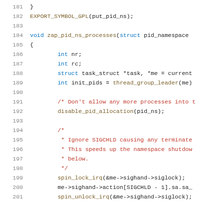[Figure (screenshot): Source code listing in a code editor showing C kernel code for zap_pid_ns_processes function, lines 181-201, with syntax highlighting (blue keywords, red comments, dark text for identifiers).]